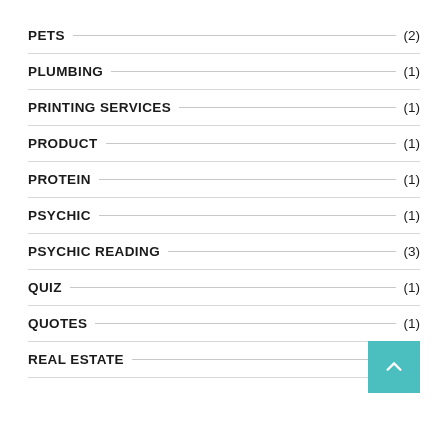PETS (2)
PLUMBING (1)
PRINTING SERVICES (1)
PRODUCT (1)
PROTEIN (1)
PSYCHIC (1)
PSYCHIC READING (3)
QUIZ (1)
QUOTES (1)
REAL ESTATE (3)